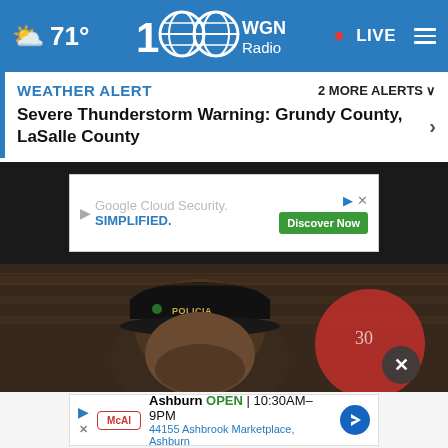71° WGN Radio 100 • LIVE
WEATHER ALERT   2 MORE ALERTS ∨
Severe Thunderstorm Warning: Grundy County, LaSalle County
[Figure (screenshot): Google Cloud Security advertisement in a white box on dark background, text: Google Cloud Security. SIMPLIFIED. with Discover Now green button]
[Figure (photo): Man wearing a black cap with POLICIA FEDERAL text, indoors with blurred background, another person in red visible]
[Figure (screenshot): Bottom advertisement: Ashburn OPEN 10:30AM-9PM, 44155 Ashbrook Marketplace, Ashburn with McAl logo and navigation icon]